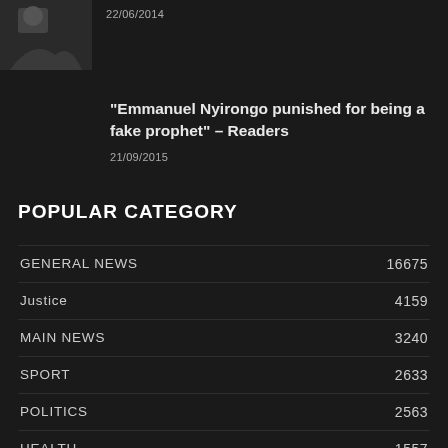[Figure (photo): Dark thumbnail image of a person]
22/06/2014
“Emmanuel Nyirongo punished for being a fake prophet” – Readers
21/09/2015
POPULAR CATEGORY
GENERAL NEWS 16675
Justice 4159
MAIN NEWS 3240
SPORT 2633
POLITICS 2563
HEALTH 1557